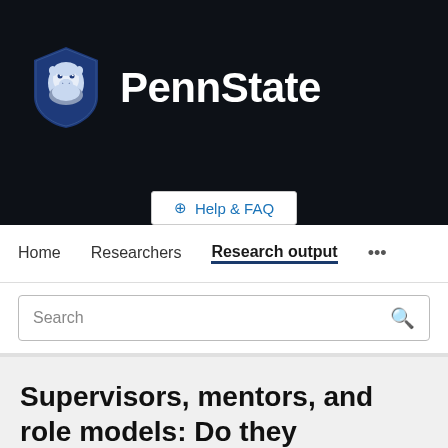[Figure (logo): Penn State University logo with shield mascot and PennState text on dark background]
Help & FAQ
Home   Researchers   Research output   ...
Search
Supervisors, mentors, and role models: Do they reduce the effects of psychological contract breach?